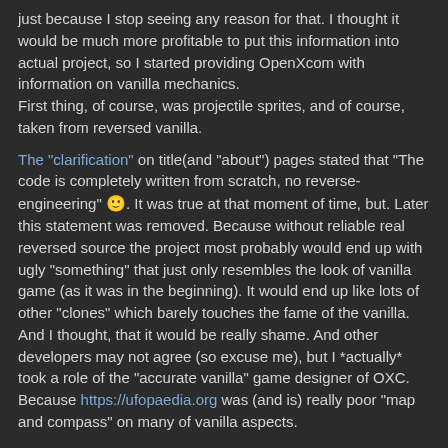just because I stop seeing any reason for that. I thought it would be much more profitable to put this information into actual project, so I started providing OpenXcom with information on vanilla mechanics.
First thing, of course, was projectile sprites, and of course, taken from reversed vanilla.
The "clarification" on title(and "about") pages stated that "The code is completely written from scratch, no reverse-engineering" 🙂. It was true at that moment of time, but. Later this statement was removed. Because without reliable real reversed source the project most probably would end up with ugly "something" that just only resembles the look of vanilla game (as it was in the beginning). It would end up like lots of other "clones" which barely touches the fame of the vanilla. And I thought, that it would be really shame. And other developers may not agree (so excuse me), but I *actually* took a role of the "accurate vanilla" game designer of OXC. Because https://ufopaedia.org was (and is) really poor "map and compass" on many of vanilla aspects.
During this long run I supplied some of OXC contributors with vanilla info.
- SupSuper. Started everything, made ALL of UI things, and the engine "skeleton". Always avoided maths and ingame mechanics programming, like, globe, or battlescape. UI - is just what he's good at. I didn't really provide him with anything important, can recall "nice" great circle flying formula for geoscape and later - dos/adlib music player, which was added just couple of